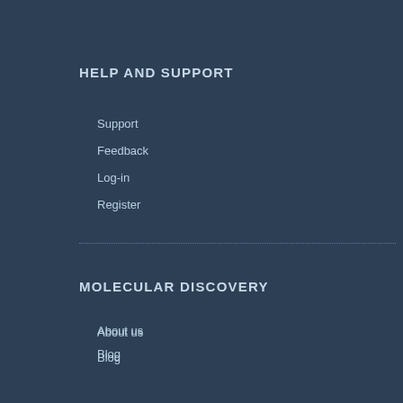HELP AND SUPPORT
Support
Feedback
Log-in
Register
MOLECULAR DISCOVERY
About us
Blog
Consortia
Publications
Remembering Peter Goodford
Jobs